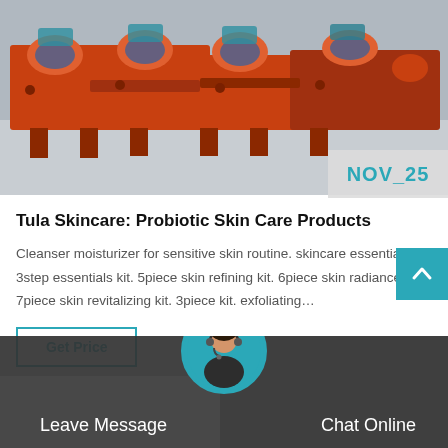[Figure (photo): Industrial orange-colored heavy machinery (rollers/conveyors) on a factory floor, viewed from the front-right angle.]
NOV_25
Tula Skincare: Probiotic Skin Care Products
Cleanser moisturizer for sensitive skin routine. skincare essentials kit. 3step essentials kit. 5piece skin refining kit. 6piece skin radiance kit. 7piece skin revitalizing kit. 3piece kit. exfoliating…
Get Price
[Figure (photo): Bottom banner with dark overlay showing a customer service representative (woman with headset) in a circular avatar, with 'Leave Message' on the left and 'Chat Online' on the right in white text.]